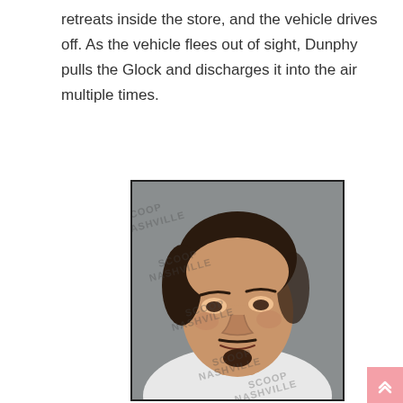retreats inside the store, and the vehicle drives off. As the vehicle flees out of sight, Dunphy pulls the Glock and discharges it into the air multiple times.
[Figure (photo): Mugshot of a young white male with dark brown medium-length hair, a thin mustache and goatee, wearing a white hoodie. The image has a watermark reading 'SCOOP NASHVILLE' repeated diagonally across it.]